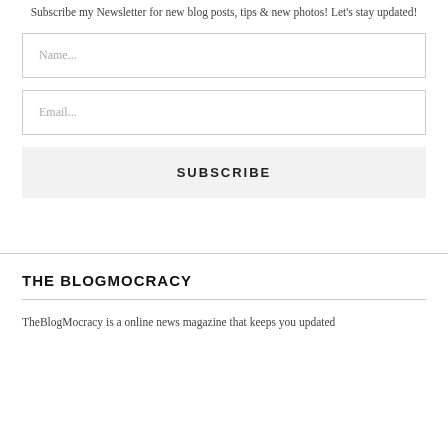Subscribe my Newsletter for new blog posts, tips & new photos! Let's stay updated!
Name...
Email...
SUBSCRIBE
THE BLOGMOCRACY
TheBlogMocracy is a online news magazine that keeps you updated